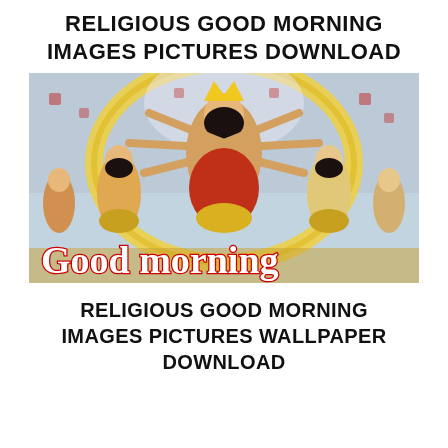RELIGIOUS GOOD MORNING IMAGES PICTURES DOWNLOAD
[Figure (photo): A colorful Hindu religious image depicting Goddess Durga with multiple arms surrounded by other deities, with 'Good morning' text overlaid in large white letters with red outline at the bottom of the image.]
RELIGIOUS GOOD MORNING IMAGES PICTURES WALLPAPER DOWNLOAD